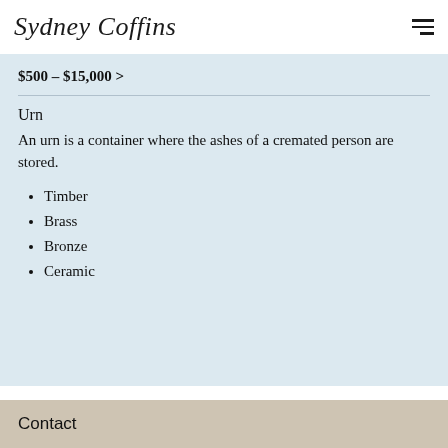Sydney Coffins
$500 – $15,000 >
Urn
An urn is a container where the ashes of a cremated person are stored.
Timber
Brass
Bronze
Ceramic
Contact